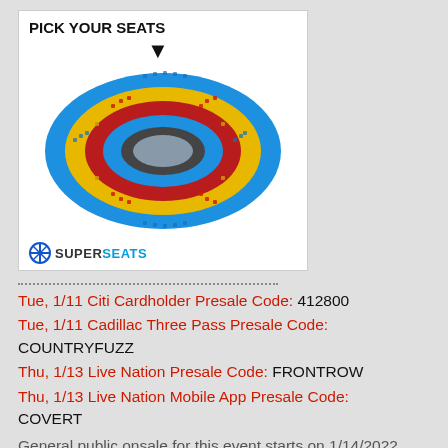[Figure (illustration): SuperSeats venue seating chart with PICK YOUR SEATS header, arrow pointing down, colorful stadium map with red/blue/gold sections, and SuperSeats logo at bottom]
Tue, 1/11 Citi Cardholder Presale Code: 412800
Tue, 1/11 Cadillac Three Pass Presale Code: COUNTRYFUZZ
Thu, 1/13 Live Nation Presale Code: FRONTROW
Thu, 1/13 Live Nation Mobile App Presale Code: COVERT
General public onsale for this event starts on 1/14/2022
CLICK HERE TO BUY TICKETS ON SUPERSEATS
CLICK HERE TO BUY TICKETS ON THE PRIMARY